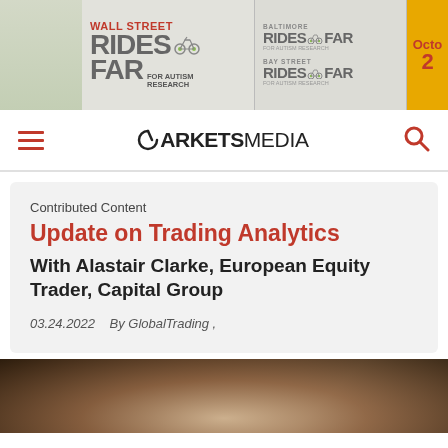[Figure (infographic): Wall Street Rides FAR for Autism Research banner advertisement with Baltimore Rides FAR and Bay Street Rides FAR logos, and an orange October date panel on the right]
MARKETS MEDIA
Contributed Content
Update on Trading Analytics
With Alastair Clarke, European Equity Trader, Capital Group
03.24.2022   By GlobalTrading ,
[Figure (photo): Close-up photo of what appears to be wooden or metal objects, partially visible at the bottom of the page]